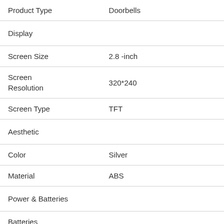| Product Type | Doorbells |
| Display |  |
| Screen Size | 2.8 -inch |
| Screen Resolution | 320*240 |
| Screen Type | TFT |
| Aesthetic |  |
| Color | Silver |
| Material | ABS |
| Power & Batteries |  |
| Batteries Included | No |